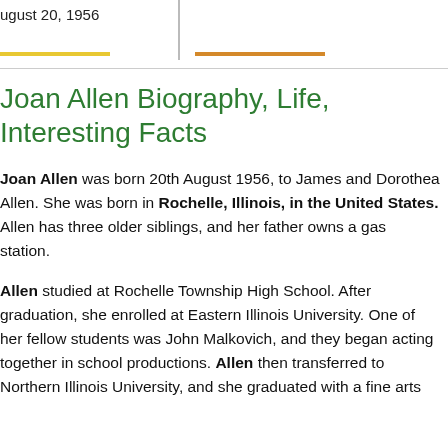August 20, 1956
Joan Allen Biography, Life, Interesting Facts
Joan Allen was born 20th August 1956, to James and Dorothea Allen. She was born in Rochelle, Illinois, in the United States. Allen has three older siblings, and her father owns a gas station.
Allen studied at Rochelle Township High School. After graduation, she enrolled at Eastern Illinois University. One of her fellow students was John Malkovich, and they began acting together in school productions. Allen then transferred to Northern Illinois University, and she graduated with a fine arts